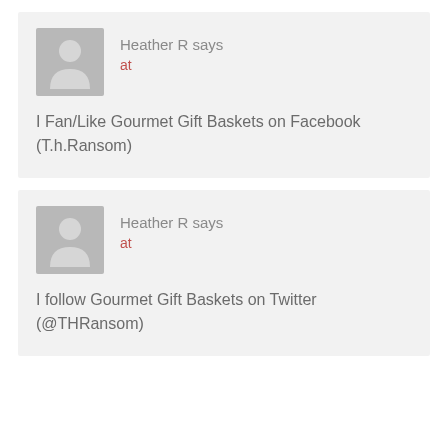Heather R says
at

I Fan/Like Gourmet Gift Baskets on Facebook (T.h.Ransom)
Heather R says
at

I follow Gourmet Gift Baskets on Twitter (@THRansom)